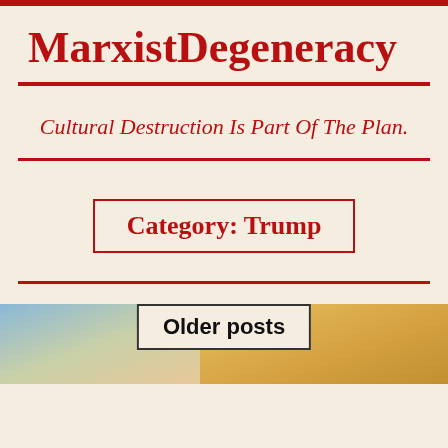MarxistDegeneracy
Cultural Destruction Is Part Of The Plan.
Category: Trump
Older posts
[Figure (photo): Two people photographed, partial view at bottom of page]